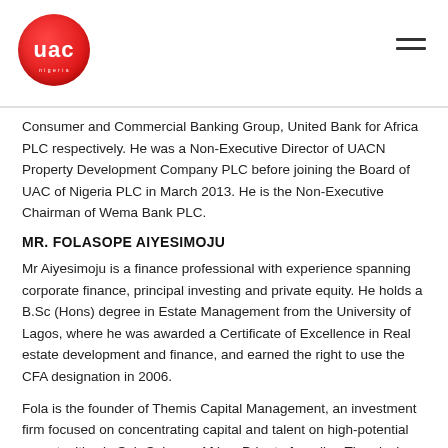UAC Nigeria PLC logo and navigation
Consumer and Commercial Banking Group, United Bank for Africa PLC respectively. He was a Non-Executive Director of UACN Property Development Company PLC before joining the Board of UAC of Nigeria PLC in March 2013. He is the Non-Executive Chairman of Wema Bank PLC.
MR. FOLASOPE AIYESIMOJU
Mr Aiyesimoju is a finance professional with experience spanning corporate finance, principal investing and private equity. He holds a B.Sc (Hons) degree in Estate Management from the University of Lagos, where he was awarded a Certificate of Excellence in Real estate development and finance, and earned the right to use the CFA designation in 2006.
Fola is the founder of Themis Capital Management, an investment firm focused on concentrating capital and talent on high-potential opportunities in Sub-Saharan Africa. Prior to founding Themis, he worked with Helios partners in Robert and leading global his attorney